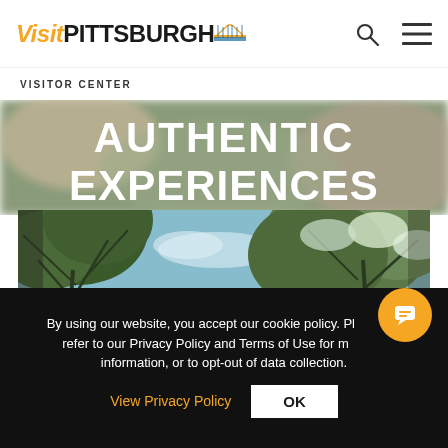[Figure (logo): Visit Pittsburgh logo with bridge graphic]
VISITOR CENTER
[Figure (photo): Hero banner with text AUTHENTIC EXPERIENCES overlaid on blurred outdoor background]
[Figure (photo): Photo looking up through tree branches into blue sky]
By using our website, you accept our cookie policy. Please refer to our Privacy Policy and Terms of Use for more information, or to opt-out of data collection.
View Privacy Policy
OK